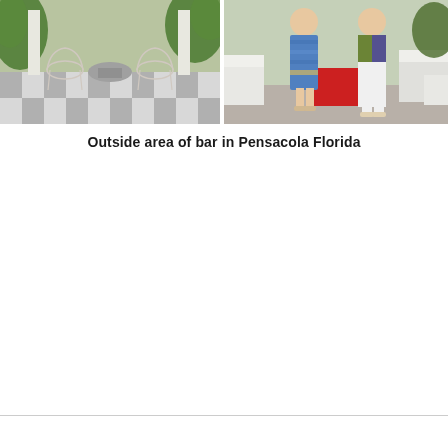[Figure (photo): Outdoor patio/garden area with white wire chairs and a round concrete table on a checkered tile floor, surrounded by green plants and flowers]
[Figure (photo): Two women standing outdoors near white patio furniture and a red table, one wearing a blue patterned dress, the other wearing a colorful top and white pants]
Outside area of bar in Pensacola Florida